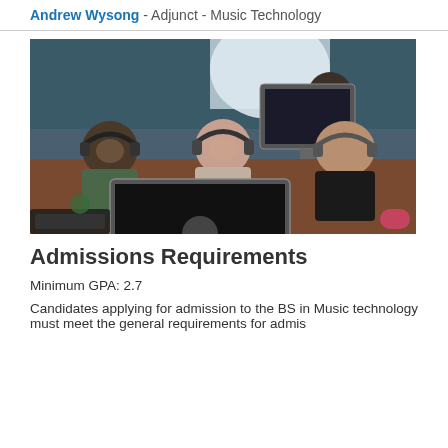Andrew Wysong - Adjunct - Music Technology
[Figure (photo): Students wearing headphones working at Apple iMac computers in a music technology studio. Three female students are in the foreground smiling at the camera, with another student visible in the background.]
Admissions Requirements
Minimum GPA: 2.7
Candidates applying for admission to the BS in Music technology must meet the general requirements for admission